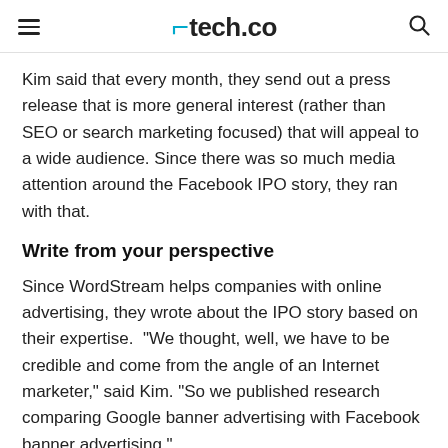tech.co
Kim said that every month, they send out a press release that is more general interest (rather than SEO or search marketing focused) that will appeal to a wide audience. Since there was so much media attention around the Facebook IPO story, they ran with that.
Write from your perspective
Since WordStream helps companies with online advertising, they wrote about the IPO story based on their expertise. “We thought, well, we have to be credible and come from the angle of an Internet marketer,” said Kim. “So we published research comparing Google banner advertising with Facebook banner advertising.”